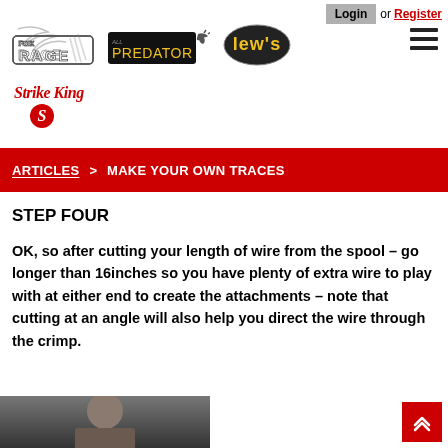Login or Register
[Figure (logo): Fox Rage logo - stylized claw marks with text]
[Figure (logo): All Predator logo - stylized text with goat head]
[Figure (logo): Lew's logo - yellow text on dark oval]
[Figure (logo): Strike King logo - red script text with red S emblem]
ARTICLES > MAKE YOUR OWN TRACES
STEP FOUR
OK, so after cutting your length of wire from the spool – go longer than 16inches so you have plenty of extra wire to play with at either end to create the attachments – note that cutting at an angle will also help you direct the wire through the crimp.